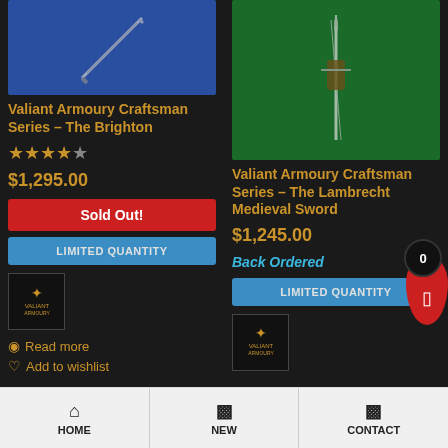[Figure (photo): Product image of Valiant Armoury Brighton sword on blue background]
Valiant Armoury Craftsman Series – The Brighton
[Figure (other): 4 out of 5 star rating]
$1,295.00
Sold Out!
LIMITED QUANTITY
[Figure (logo): Valiant Armoury logo badge]
Read more
Add to wishlist
[Figure (photo): Product image of Valiant Armoury Lambrecht Medieval Sword on green background]
Valiant Armoury Craftsman Series – The Lambrecht Medieval Sword
$1,245.00
Back Ordered
LIMITED QUANTITY
[Figure (logo): Valiant Armoury logo badge]
HOME  NEW  CONTACT